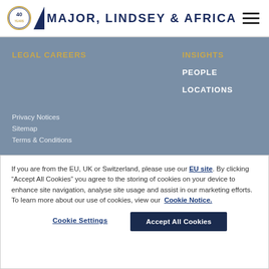[Figure (logo): Major, Lindsey & Africa logo with 40th anniversary badge and dark blue triangle graphic]
LEGAL CAREERS
INSIGHTS
PEOPLE
LOCATIONS
Privacy Notices
Sitemap
Terms & Conditions
If you are from the EU, UK or Switzerland, please use our EU site. By clicking “Accept All Cookies” you agree to the storing of cookies on your device to enhance site navigation, analyse site usage and assist in our marketing efforts. To learn more about our use of cookies, view our Cookie Notice.
Cookie Settings
Accept All Cookies